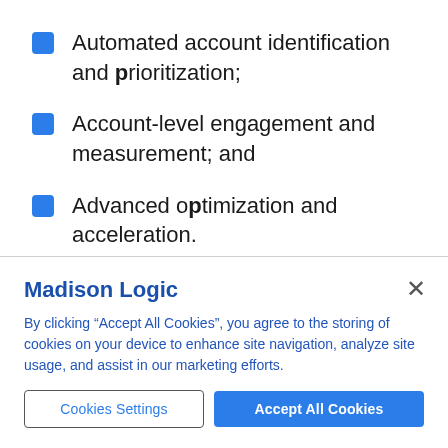Automated account identification and prioritization;
Account-level engagement and measurement; and
Advanced optimization and acceleration.
Madison Logic
By clicking “Accept All Cookies”, you agree to the storing of cookies on your device to enhance site navigation, analyze site usage, and assist in our marketing efforts.
Cookies Settings
Accept All Cookies